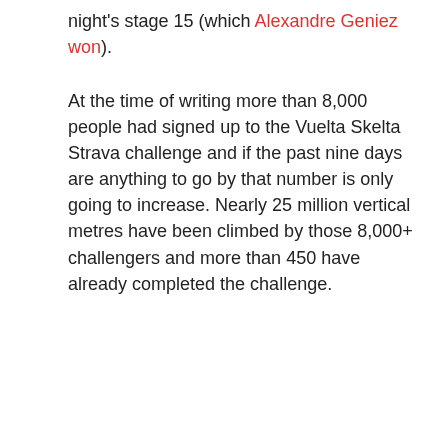night's stage 15 (which Alexandre Geniez won).
At the time of writing more than 8,000 people had signed up to the Vuelta Skelta Strava challenge and if the past nine days are anything to go by that number is only going to increase. Nearly 25 million vertical metres have been climbed by those 8,000+ challengers and more than 450 have already completed the challenge.